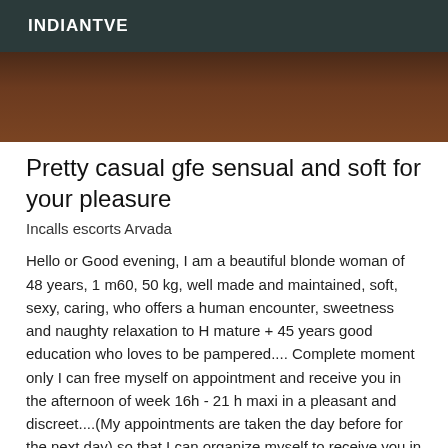INDIANTVE
[Figure (photo): Brown wooden surface or wall, cropped image strip]
Pretty casual gfe sensual and soft for your pleasure
Incalls escorts Arvada
Hello or Good evening, I am a beautiful blonde woman of 48 years, 1 m60, 50 kg, well made and maintained, soft, sexy, caring, who offers a human encounter, sweetness and naughty relaxation to H mature + 45 years good education who loves to be pampered.... Complete moment only I can free myself on appointment and receive you in the afternoon of week 16h - 21 h maxi in a pleasant and discreet....(My appointments are taken the day before for the next day) so that I can organize myself to receive you in the best conditions. Being selective and if you want an answer, please tell me your age, a physical description as well as your